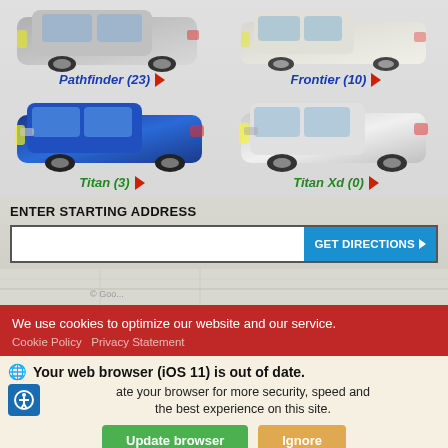[Figure (photo): Blue Nissan Pathfinder SUV image top-left]
Pathfinder (23) ▶
[Figure (photo): White/silver Nissan Frontier pickup truck image top-right]
Frontier (10) ▶
[Figure (photo): Blue Nissan Titan pickup truck image bottom-left]
Titan (3) ▶
[Figure (photo): White Nissan Titan Xd pickup truck image bottom-right]
Titan Xd (0) ▶
ENTER STARTING ADDRESS
GET DIRECTIONS ▶
[Figure (map): Map section showing partial street map]
We use cookies to optimize our website and our service.
Cookie Policy  Privacy Statement
Your web browser (iOS 11) is out of date.
Update your browser for more security, speed and the best experience on this site.
Update browser
Ignore